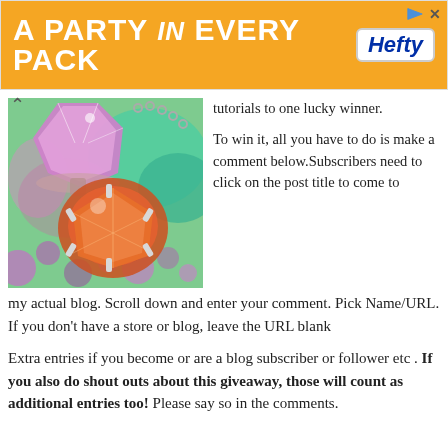[Figure (photo): Orange advertisement banner: 'A PARTY in EVERY PACK' with Hefty logo, on orange background]
[Figure (photo): Close-up photo of sparkling crystal/rhinestone jewelry pieces in pink, red, and gold tones on colorful background]
tutorials to one lucky winner.
To win it, all you have to do is make a comment below.Subscribers need to click on the post title to come to my actual blog. Scroll down and enter your comment. Pick Name/URL. If you don't have a store or blog, leave the URL blank
Extra entries if you become or are a blog subscriber or follower etc . If you also do shout outs about this giveaway, those will count as additional entries too!  Please say so in the comments.